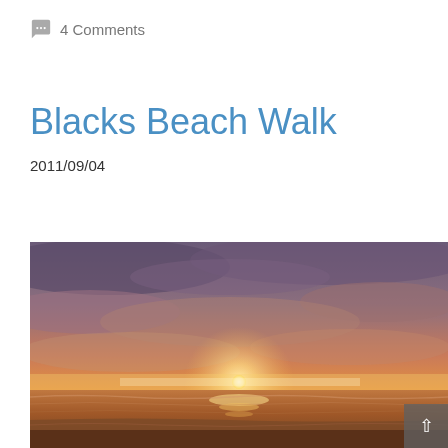4 Comments
Blacks Beach Walk
2011/09/04
[Figure (photo): A beach sunset photograph showing a dramatic orange and purple sky with the sun setting on the horizon over the ocean, waves visible in the foreground, with a scroll-to-top button overlay in the bottom right corner.]